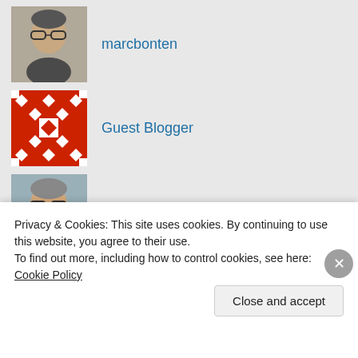[Figure (photo): Profile photo of marcbonten - man with glasses]
marcbonten
[Figure (illustration): Guest Blogger avatar - red geometric pattern]
Guest Blogger
[Figure (photo): Profile photo of Andreas Voss - man with glasses smiling]
Andreas Voss (@AVIPNL)
FOLLOW BLOG VIA EMAIL
Enter your email address to follow this blog and
Privacy & Cookies: This site uses cookies. By continuing to use this website, you agree to their use.
To find out more, including how to control cookies, see here: Cookie Policy
Close and accept